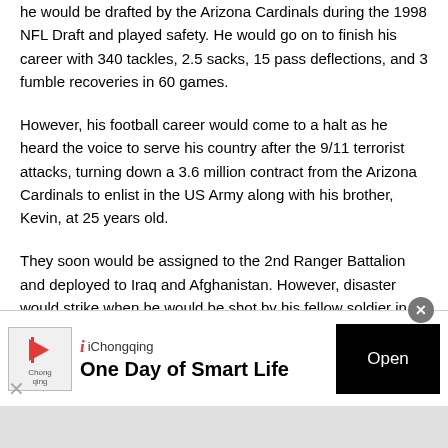he would be drafted by the Arizona Cardinals during the 1998 NFL Draft and played safety. He would go on to finish his career with 340 tackles, 2.5 sacks, 15 pass deflections, and 3 fumble recoveries in 60 games.
However, his football career would come to a halt as he heard the voice to serve his country after the 9/11 terrorist attacks, turning down a 3.6 million contract from the Arizona Cardinals to enlist in the US Army along with his brother, Kevin, at 25 years old.
They soon would be assigned to the 2nd Ranger Battalion and deployed to Iraq and Afghanistan. However, disaster would strike when he would be shot by his fellow soldier in
[Figure (other): iChongqing advertisement banner with logo, text 'One Day of Smart Life', and an Open button]